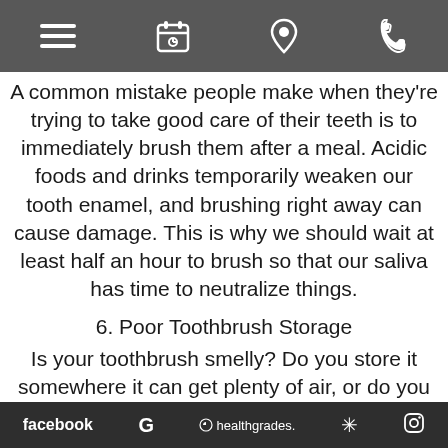[Navigation bar with menu, appointment, location, and phone icons]
A common mistake people make when they're trying to take good care of their teeth is to immediately brush them after a meal. Acidic foods and drinks temporarily weaken our tooth enamel, and brushing right away can cause damage. This is why we should wait at least half an hour to brush so that our saliva has time to neutralize things.
6. Poor Toothbrush Storage
Is your toothbrush smelly? Do you store it somewhere it can get plenty of air, or do you put it in a case where it never really dries out? Bacteria love moist environments, so the best thing we can do to keep
facebook  G  healthgrades.  *  [Instagram icon]